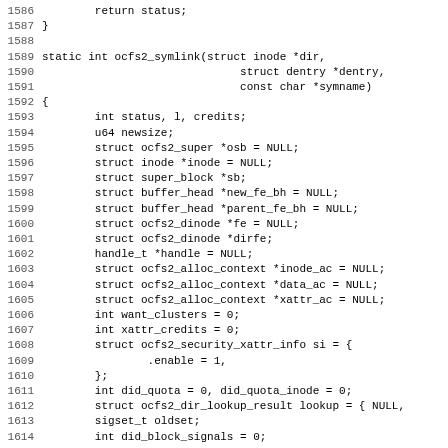Source code listing, lines 1586-1618, ocfs2_symlink function definition with variable declarations.